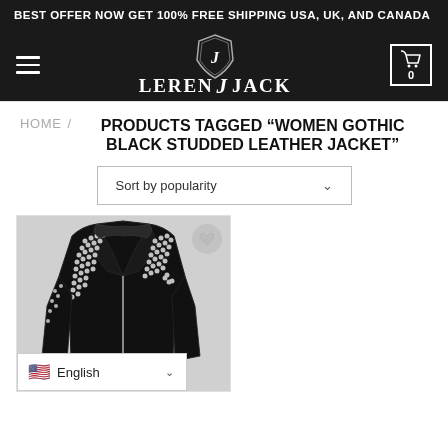BEST OFFER NOW GET 100% FREE SHIPPING USA, UK, AND CANADA
[Figure (logo): LerenJJack brand logo with shield badge icon on dark navigation bar with hamburger menu and cart icon showing 0]
HOME / PRODUCTS TAGGED "WOMEN GOTHIC BLACK STUDDED LEATHER JACKET"
Sort by popularity
[Figure (photo): Women's gothic black studded leather jacket with silver spikes on shoulders and front, asymmetric zipper, displayed on white background]
English